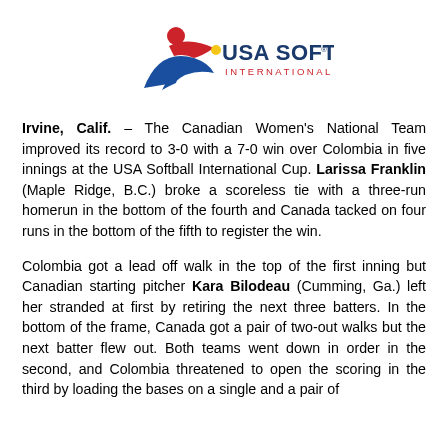[Figure (logo): USA Softball International Cup logo with stylized player figure in red and blue, text USA SOFTBALL in dark blue and INTERNATIONAL CUP in red]
Irvine, Calif. – The Canadian Women's National Team improved its record to 3-0 with a 7-0 win over Colombia in five innings at the USA Softball International Cup. Larissa Franklin (Maple Ridge, B.C.) broke a scoreless tie with a three-run homerun in the bottom of the fourth and Canada tacked on four runs in the bottom of the fifth to register the win.
Colombia got a lead off walk in the top of the first inning but Canadian starting pitcher Kara Bilodeau (Cumming, Ga.) left her stranded at first by retiring the next three batters. In the bottom of the frame, Canada got a pair of two-out walks but the next batter flew out. Both teams went down in order in the second, and Colombia threatened to open the scoring in the third by loading the bases on a single and a pair of